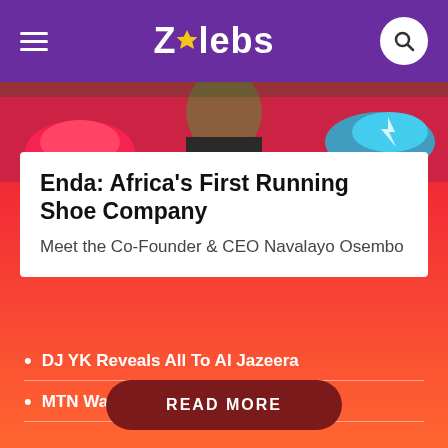ZAlebs
[Figure (photo): Photo of a person with colorful running shoes (red and blue), smiling outdoors]
Enda: Africa's First Running Shoe Company
Meet the Co-Founder & CEO Navalayo Osembo
DJ YK Reveals All To Al Jazeera
MTN Wants To Change Your Life
READ MORE